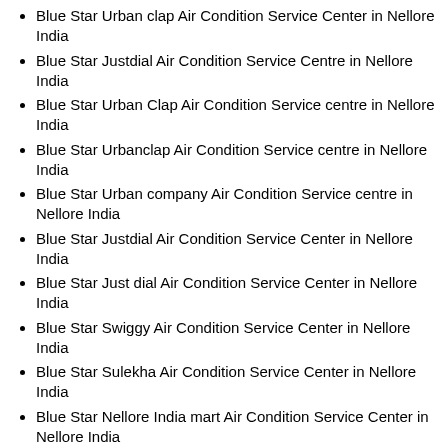Blue Star Urban clap Air Condition Service Center in Nellore India
Blue Star Justdial Air Condition Service Centre in Nellore India
Blue Star Urban Clap Air Condition Service centre in Nellore India
Blue Star Urbanclap Air Condition Service centre in Nellore India
Blue Star Urban company Air Condition Service centre in Nellore India
Blue Star Justdial Air Condition Service Center in Nellore India
Blue Star Just dial Air Condition Service Center in Nellore India
Blue Star Swiggy Air Condition Service Center in Nellore India
Blue Star Sulekha Air Condition Service Center in Nellore India
Blue Star Nellore India mart Air Condition Service Center in Nellore India
Blue Star Zomato Air Condition Service Center in Nellore India
Blue Star Urban Clap Air Condition Service Center in Nellore